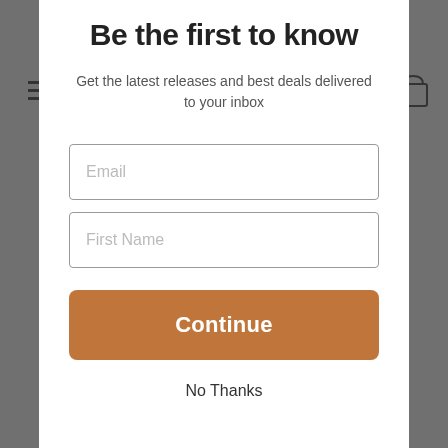Be the first to know
Get the latest releases and best deals delivered to your inbox
Email
First Name
Continue
No Thanks
Very good variety, excellent prices, and